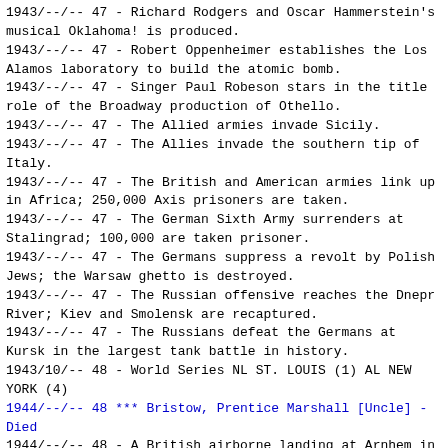1943/--/-- 47 - Richard Rodgers and Oscar Hammerstein's musical Oklahoma! is produced.
1943/--/-- 47 - Robert Oppenheimer establishes the Los Alamos laboratory to build the atomic bomb.
1943/--/-- 47 - Singer Paul Robeson stars in the title role of the Broadway production of Othello.
1943/--/-- 47 - The Allied armies invade Sicily.
1943/--/-- 47 - The Allies invade the southern tip of Italy.
1943/--/-- 47 - The British and American armies link up in Africa; 250,000 Axis prisoners are taken.
1943/--/-- 47 - The German Sixth Army surrenders at Stalingrad; 100,000 are taken prisoner.
1943/--/-- 47 - The Germans suppress a revolt by Polish Jews; the Warsaw ghetto is destroyed.
1943/--/-- 47 - The Russian offensive reaches the Dnepr River; Kiev and Smolensk are recaptured.
1943/--/-- 47 - The Russians defeat the Germans at Kursk in the largest tank battle in history.
1943/10/-- 48 - World Series NL ST. LOUIS (1) AL NEW YORK (4)
1944/--/-- 48 *** Bristow, Prentice Marshall [Uncle] - Died
1944/--/-- 48 - A British airborne landing at Arnhem in the Netherlands is repulsed by the Germans.
1944/--/-- 48 - Aaron Copland composes the ballet Appalachian Spring.
1944/--/-- 48 - Allied D-Day invasion forces land at Normandy in northern France.
1944/--/-- 48 - Allied forces break out from the